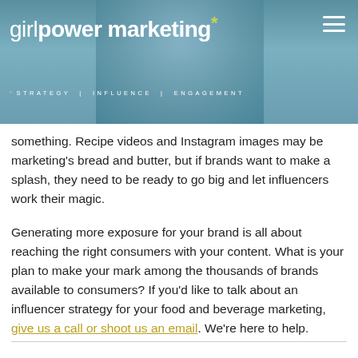[Figure (photo): Girl Power Marketing website header with logo text 'girlpower marketing' with asterisk, tagline 'STRATEGY | INFLUENCE | ENGAGEMENT', hamburger menu icon, and background photo of a person holding something.]
something. Recipe videos and Instagram images may be marketing's bread and butter, but if brands want to make a splash, they need to be ready to go big and let influencers work their magic.
Generating more exposure for your brand is all about reaching the right consumers with your content. What is your plan to make your mark among the thousands of brands available to consumers? If you'd like to talk about an influencer strategy for your food and beverage marketing, give us a call or shoot us an email. We're here to help.